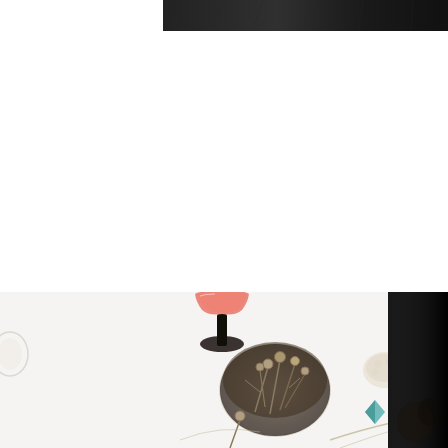[Figure (photo): Dark textured background strip at the top right portion of the page, partially cropped.]
[Figure (photo): Flat lay photograph showing a cocktail glass with pink/red drink on a dark stem, a glass bowl containing dried poppy seed heads and dark liquid, a teal geometric crystal, dried botanical elements, and string/twine on a white textured surface. A dark panel appears on the right edge.]